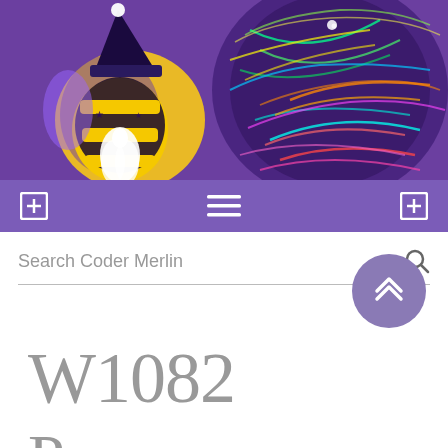[Figure (illustration): Purple header banner with a bee wizard mascot (black and yellow bee wearing a wizard hat with stars, white beard) on the left, and a colorful glowing spherical light art/neural network ball on the right, against a purple background.]
[Figure (infographic): Purple navigation bar with a plus icon box on the left, hamburger menu icon in the center, and a plus icon box on the right, all in white on purple background.]
Search Coder Merlin
W1082
Programming